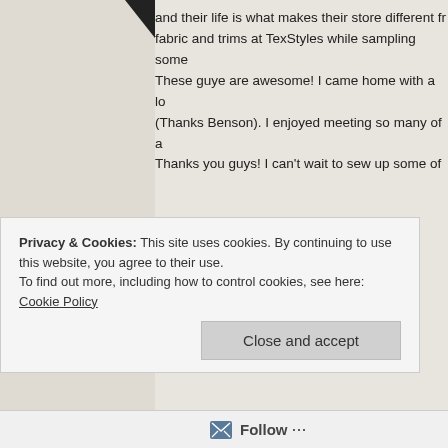and their life is what makes their store different fr... fabric and trims at TexStyles while sampling some... These guye are awesome! I came home with a lo... (Thanks Benson). I enjoyed meeting so many of a... Thanks you guys! I can't wait to sew up some of ...
[Figure (photo): Two overlapping polaroid-style photos of groups of people at an event. Left photo shows several people including a woman in blue and a woman in red. Right photo shows a man with long hair and a woman.]
Privacy & Cookies: This site uses cookies. By continuing to use this website, you agree to their use.
To find out more, including how to control cookies, see here: Cookie Policy
Close and accept
Follow